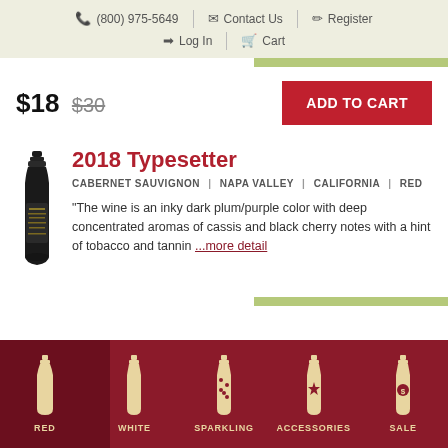☰  (800) 975-5649 | Contact Us | Register | Log In | Cart
$18  $30
ADD TO CART
2018 Typesetter
CABERNET SAUVIGNON | NAPA VALLEY | CALIFORNIA | RED
"The wine is an inky dark plum/purple color with deep concentrated aromas of cassis and black cherry notes with a hint of tobacco and tannin ...more detail
RED  WHITE  SPARKLING  ACCESSORIES  SALE